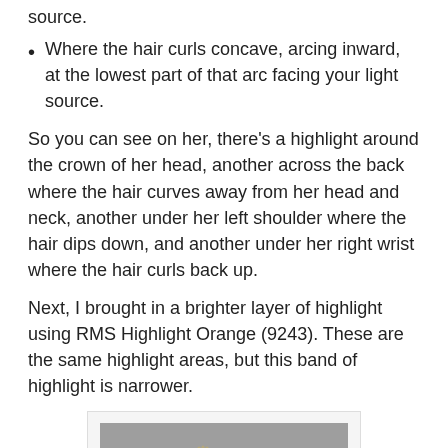source.
Where the hair curls concave, arcing inward, at the lowest part of that arc facing your light source.
So you can see on her, there's a highlight around the crown of her head, another across the back where the hair curves away from her head and neck, another under her left shoulder where the hair dips down, and another under her right wrist where the hair curls back up.
Next, I brought in a brighter layer of highlight using RMS Highlight Orange (9243). These are the same highlight areas, but this band of highlight is narrower.
[Figure (photo): Back view of a fantasy miniature figure with long flowing red/auburn hair, wearing a green-tan costume, with one arm raised and holding a weapon, on a gray background.]